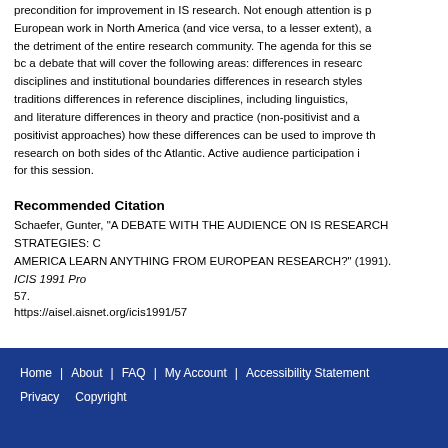precondition for improvement in IS research. Not enough attention is paid to European work in North America (and vice versa, to a lesser extent), and this is to the detriment of the entire research community. The agenda for this session will bc a debate that will cover the following areas: differences in research disciplines and institutional boundaries differences in research styles and traditions differences in reference disciplines, including linguistics, anthropology and literature differences in theory and practice (non-positivist and anti-positivist approaches) how these differences can be used to improve the quality of research on both sides of thc Atlantic. Active audience participation is strongly urged for this session.
Recommended Citation
Schaefer, Gunter, "A DEBATE WITH THE AUDIENCE ON IS RESEARCH STRATEGIES: CAN AMERICA LEARN ANYTHING FROM EUROPEAN RESEARCH?" (1991). ICIS 1991 Proceedings. 57.
https://aisel.aisnet.org/icis1991/57
Home | About | FAQ | My Account | Accessibility Statement
Privacy  Copyright